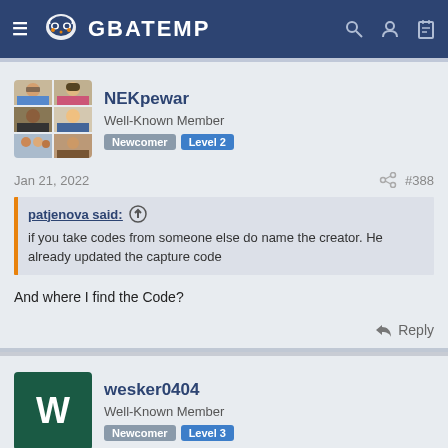GBATEMP
NEKpewar
Well-Known Member
Newcomer Level 2
Jan 21, 2022  #388
patjenova said: ↑
if you take codes from someone else do name the creator. He already updated the capture code
And where I find the Code?
wesker0404
Well-Known Member
Newcomer Level 3
Jan 21, 2022  #389